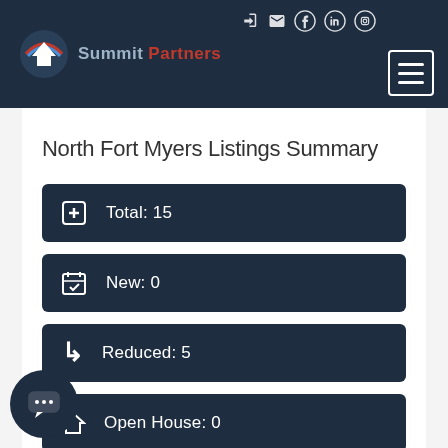[Figure (logo): Summit Partners real estate logo with mountain/house icon and red Partners text on dark navy header]
North Fort Myers Listings Summary
Total: 15
New: 0
Reduced: 5
Open House: 0